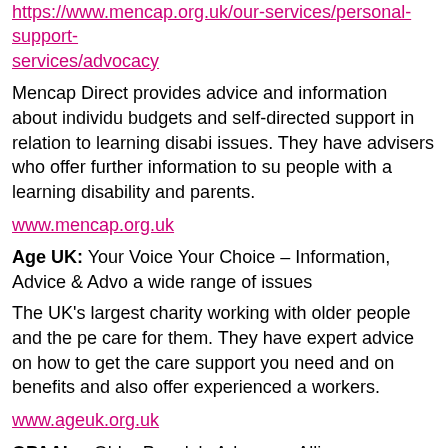https://www.mencap.org.uk/our-services/personal-support-services/advocacy
Mencap Direct provides advice and information about individual budgets and self-directed support in relation to learning disability issues. They have advisers who offer further information to support people with a learning disability and parents.
www.mencap.org.uk
Age UK: Your Voice Your Choice – Information, Advice & Advocacy on a wide range of issues
The UK's largest charity working with older people and the people that care for them. They have expert advice on how to get the care and support you need and on benefits and also offer experienced advocacy workers.
www.ageuk.org.uk
OPAAL – Older People's Advocacy Alliance
It is the only national UK membership based organisation do...